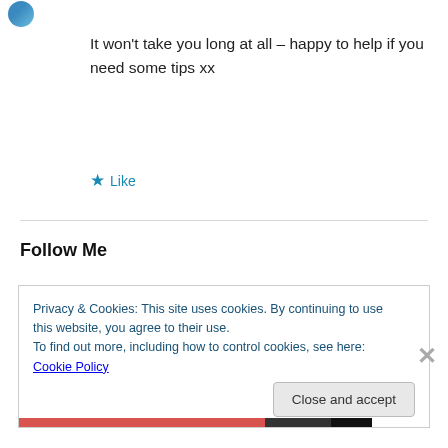It won't take you long at all – happy to help if you need some tips xx
★ Like
Follow Me
Privacy & Cookies: This site uses cookies. By continuing to use this website, you agree to their use.
To find out more, including how to control cookies, see here: Cookie Policy
Close and accept